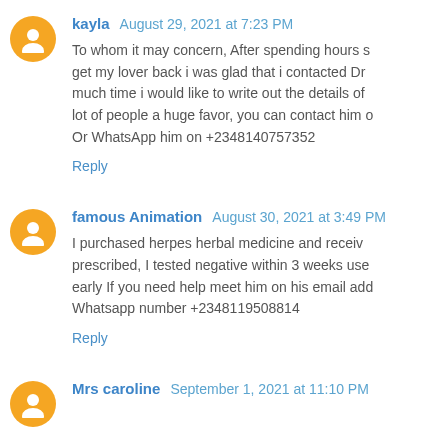kayla August 29, 2021 at 7:23 PM
To whom it may concern, After spending hours s... get my lover back i was glad that i contacted Dr... much time i would like to write out the details of... lot of people a huge favor, you can contact him o... Or WhatsApp him on +2348140757352
Reply
famous Animation August 30, 2021 at 3:49 PM
I purchased herpes herbal medicine and receiv... prescribed, I tested negative within 3 weeks use... early If you need help meet him on his email add... Whatsapp number +2348119508814
Reply
Mrs caroline September 1, 2021 at 11:10 PM